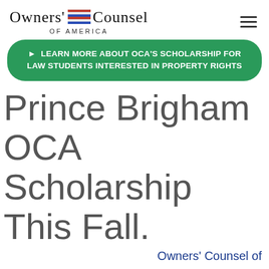Owners' Counsel of America
► LEARN MORE ABOUT OCA'S SCHOLARSHIP FOR LAW STUDENTS INTERESTED IN PROPERTY RIGHTS
Prince Brigham OCA Scholarship This Fall.
Owners' Counsel of